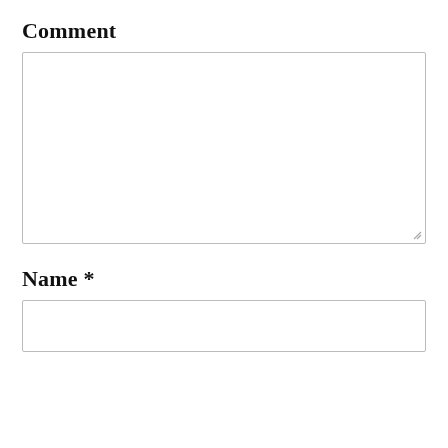Comment
[Figure (other): Large empty textarea input box for comment entry with resize handle at bottom right]
Name *
[Figure (other): Single-line text input box for name entry]